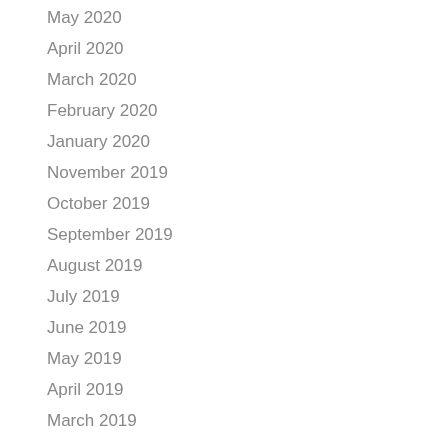May 2020
April 2020
March 2020
February 2020
January 2020
November 2019
October 2019
September 2019
August 2019
July 2019
June 2019
May 2019
April 2019
March 2019